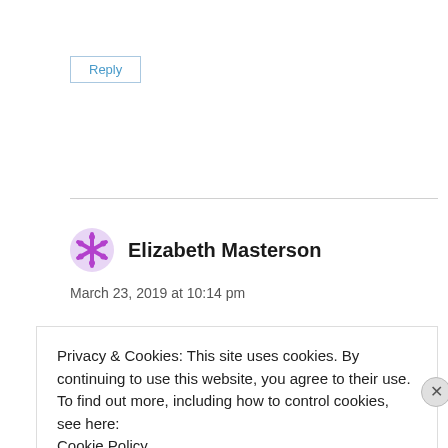Reply
Elizabeth Masterson
March 23, 2019 at 10:14 pm
Privacy & Cookies: This site uses cookies. By continuing to use this website, you agree to their use.
To find out more, including how to control cookies, see here:
Cookie Policy
Close and accept